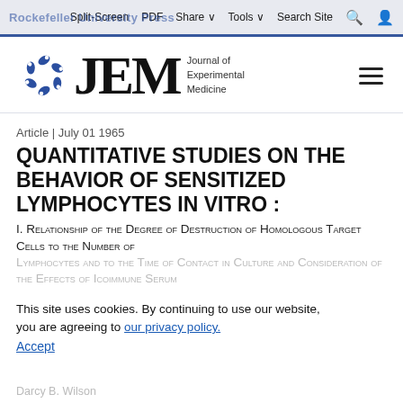Rockefeller University Press | Split-Screen | PDF | Share | Tools | Search Site
[Figure (logo): JEM - Journal of Experimental Medicine logo with blue circular emblem]
Article | July 01 1965
QUANTITATIVE STUDIES ON THE BEHAVIOR OF SENSITIZED LYMPHOCYTES IN VITRO :
I. Relationship of the Degree of Destruction of Homologous Target Cells to the Number of Lymphocytes and to the Time of Contact in Culture and Consideration of the Effects of Icoimmune Serum
This site uses cookies. By continuing to use our website, you are agreeing to our privacy policy. Accept
Darcy B. Wilson